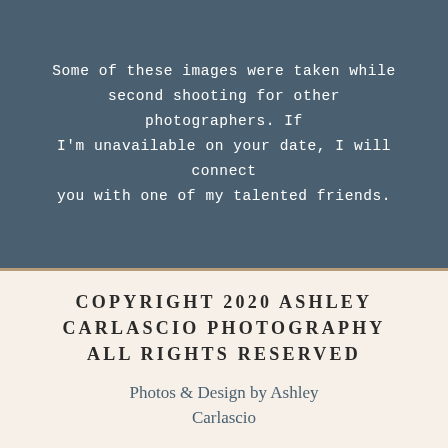Some of these images were taken while second shooting for other photographers. If I'm unavailable on your date, I will connect you with one of my talented friends.
COPYRIGHT 2020 ASHLEY CARLASCIO PHOTOGRAPHY ALL RIGHTS RESERVED
Photos & Design by Ashley Carlascio